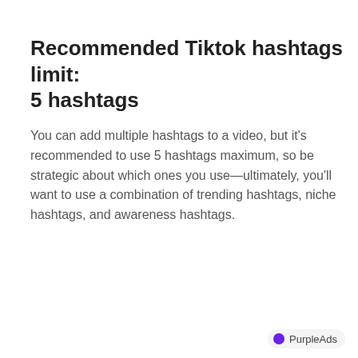Recommended Tiktok hashtags limit: 5 hashtags
You can add multiple hashtags to a video, but it's recommended to use 5 hashtags maximum, so be strategic about which ones you use—ultimately, you'll want to use a combination of trending hashtags, niche hashtags, and awareness hashtags.
PurpleAds